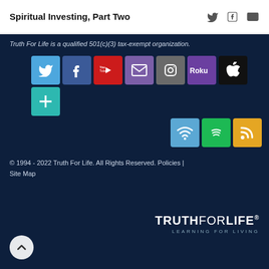Spiritual Investing, Part Two
Truth For Life is a qualified 501(c)(3) tax-exempt organization.
[Figure (infographic): Social media icon grid: Twitter, Facebook, YouTube, Email, Instagram, Roku, Apple, Truth+, WiFi/Alexa, Spotify, RSS]
© 1994 - 2022 Truth For Life. All Rights Reserved. Policies | Site Map
[Figure (logo): TRUTHFORLIFE LEARNING FOR LIVING logo in white on dark navy background]